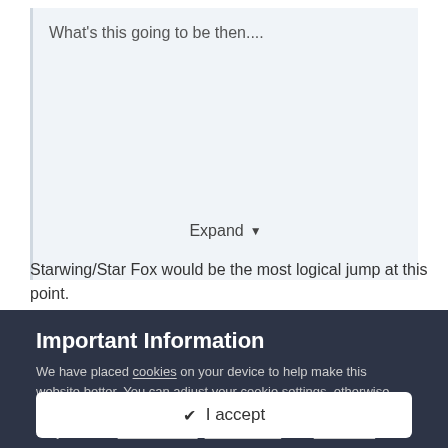What's this going to be then....
Expand
Starwing/Star Fox would be the most logical jump at this point.
Important Information
We have placed cookies on your device to help make this website better. You can adjust your cookie settings, otherwise we'll assume you're okay to continue. Use of this website is subject to our Privacy Policy, Terms of Use, and Guidelines.
✓  I accept